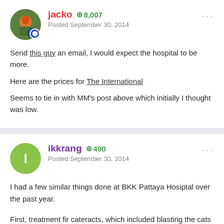jacko • 8,007 — Posted September 30, 2014
Send this guy an email, I would expect the hospital to be more.
Here are the prices for The International
Seems to tie in with MM's post above which initially I thought was low.
ikkrang • 490 — Posted September 30, 2014
I had a few similar things done at BKK Pattaya Hosiptal over the past year.
First, treatment fir cateracts, which included blasting the cats with a ultrasound, then cutting open the lens, draining the debris,